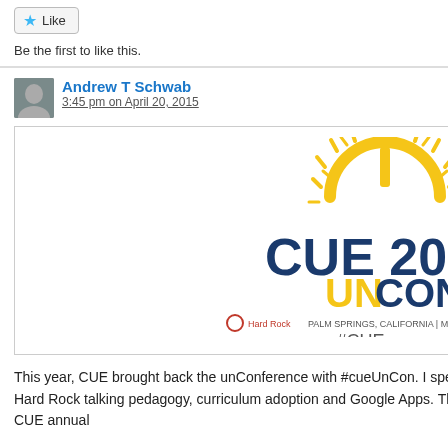Like   Be the first to like this.
Andrew T Schwab
3:45 pm on April 20, 2015
[Figure (logo): CUE 2015 UNcon logo with power button icon in yellow, blue text, Hard Rock Palm Springs California March 19-21, #CUEuncon]
This year, CUE brought back the unConference with #cueUnCon. I spent Friday morning of the conference over at the Hard Rock talking pedagogy, curriculum adoption and Google Apps. That was a big win for me personally because the CUE annual